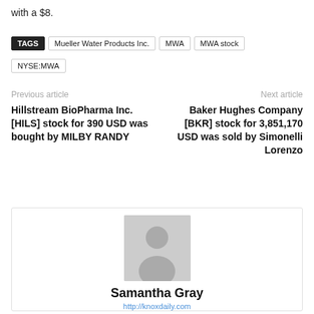with a $8.
TAGS  Mueller Water Products Inc.  MWA  MWA stock  NYSE:MWA
Previous article
Next article
Hillstream BioPharma Inc. [HILS] stock for 390 USD was bought by MILBY RANDY
Baker Hughes Company [BKR] stock for 3,851,170 USD was sold by Simonelli Lorenzo
[Figure (illustration): Author avatar placeholder — gray silhouette of a person]
Samantha Gray
http://knoxdaily.com